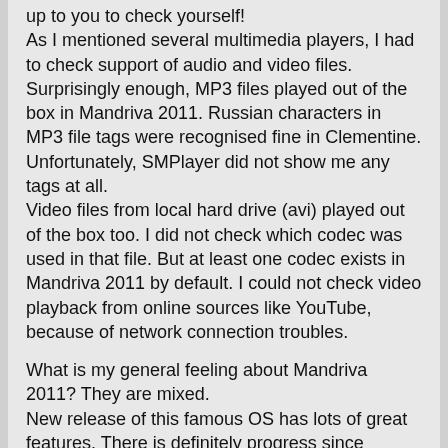up to you to check yourself!
As I mentioned several multimedia players, I had to check support of audio and video files. Surprisingly enough, MP3 files played out of the box in Mandriva 2011. Russian characters in MP3 file tags were recognised fine in Clementine. Unfortunately, SMPlayer did not show me any tags at all.
Video files from local hard drive (avi) played out of the box too. I did not check which codec was used in that file. But at least one codec exists in Mandriva 2011 by default. I could not check video playback from online sources like YouTube, because of network connection troubles.
What is my general feeling about Mandriva 2011? They are mixed.
New release of this famous OS has lots of great features. There is definitely progress since previous version.
Some of new features are very nice and from my perspective should be taken into other distributions
Dolphin redesign is just brilliant
MP3 / video support is very nice. There are some